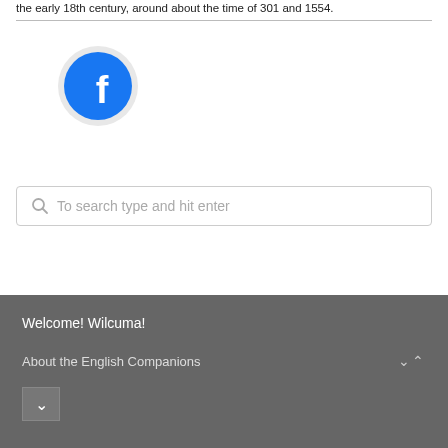the early 18th century, around about the time of 301 and 1554.
[Figure (logo): Facebook logo — circular blue icon with white 'f' on a light gray circular background]
To search type and hit enter
Welcome! Wilcuma!
About the English Companions
∨ ∧